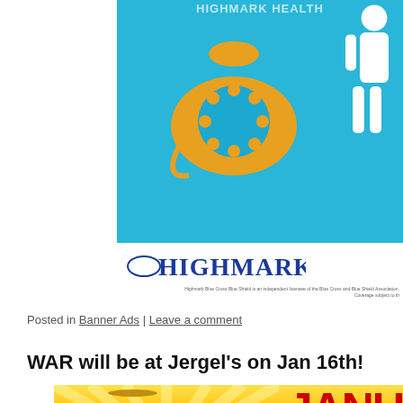[Figure (illustration): Highmark Blue Cross Blue Shield advertisement banner showing a light blue background with an orange rotary telephone graphic and a white silhouette of a person, with the Highmark logo and fine print below]
Posted in Banner Ads | Leave a comment
WAR will be at Jergel’s on Jan 16th!
[Figure (photo): Concert/band promotional banner showing musicians with a cymbal and drum, yellow sunburst background, and red text reading JANUARY on the right side]